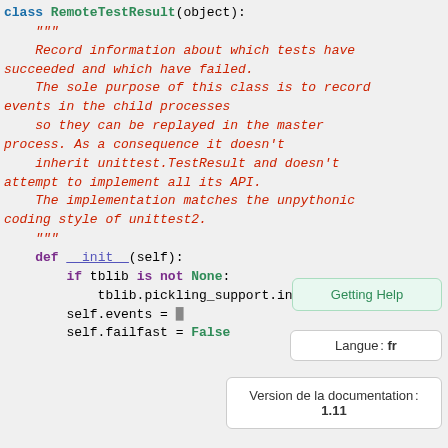class RemoteTestResult(object):
    """
    Record information about which tests have succeeded and which have failed.

    The sole purpose of this class is to record events in the child processes
    so they can be replayed in the master
    process. As a consequence it doesn't
    inherit unittest.TestResult and doesn't
    attempt to implement all its API.

    The implementation matches the unpythonic
    coding style of unittest2.
    """

    def __init__(self):
        if tblib is not None:
            tblib.pickling_support.inst...

        self.events = ...
        self.failfast = False
Getting Help
Langue : fr
Version de la documentation : 1.11